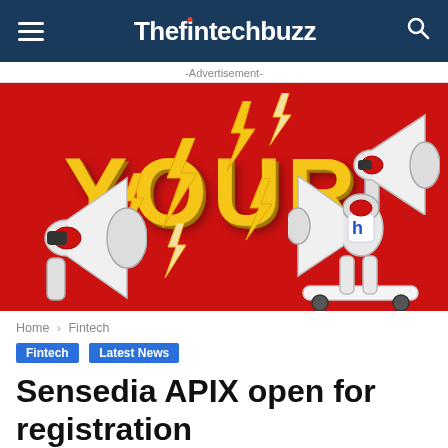Thefintechbuzz
-Advertisement-
[Figure (illustration): Red advertisement banner with large gold 'YOUR' text, lightning bolt graphics, and megaphone characters including one on a skateboard]
Home › Fintech
Fintech   Latest News
Sensedia APIX open for registration